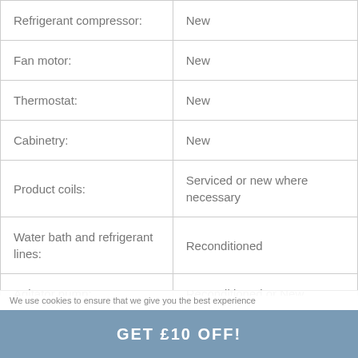| Component | Condition |
| --- | --- |
| Refrigerant compressor: | New |
| Fan motor: | New |
| Thermostat: | New |
| Cabinetry: | New |
| Product coils: | Serviced or new where necessary |
| Water bath and refrigerant lines: | Reconditioned |
| Agitator pump: | Reconditioned or New |
| Warranty: | 1 year back to base |
We use cookies to ensure that we give you the best experience
GET £10 OFF!